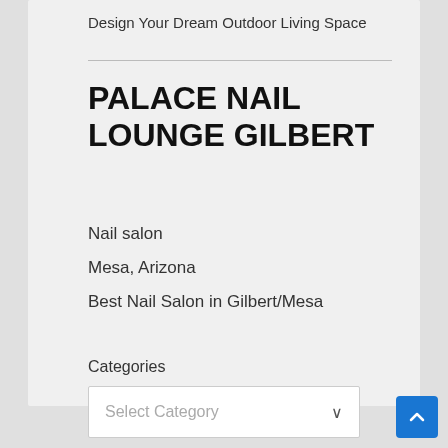Design Your Dream Outdoor Living Space
PALACE NAIL LOUNGE GILBERT
Nail salon
Mesa, Arizona
Best Nail Salon in Gilbert/Mesa
Categories
Select Category